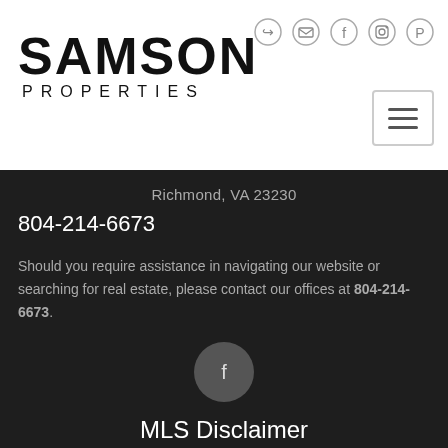[Figure (logo): Samson Properties logo with large SAMSON text and smaller PROPERTIES text beneath]
[Figure (other): Social media icons: login, email, facebook, instagram, pinterest]
[Figure (other): Hamburger menu button]
Richmond, VA 23230
804-214-6673
Should you require assistance in navigating our website or searching for real estate, please contact our offices at 804-214-6673.
[Figure (other): Facebook icon in dark circle button]
MLS Disclaimer
[Figure (map): Map image of Virginia state with location pin and chat bubble overlay]
All or a portion of the multiple listing